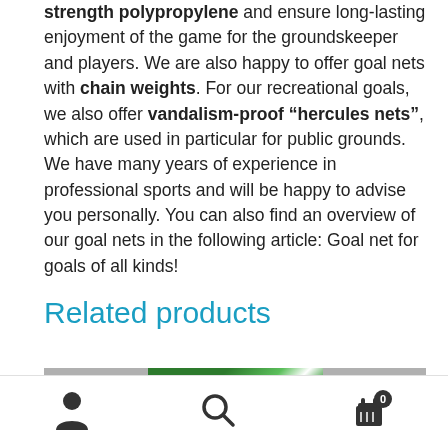strength polypropylene and ensure long-lasting enjoyment of the game for the groundskeeper and players. We are also happy to offer goal nets with chain weights. For our recreational goals, we also offer vandalism-proof "hercules nets", which are used in particular for public grounds. We have many years of experience in professional sports and will be happy to advise you personally. You can also find an overview of our goal nets in the following article: Goal net for goals of all kinds!
Related products
[Figure (photo): Green net/rope product image partially visible]